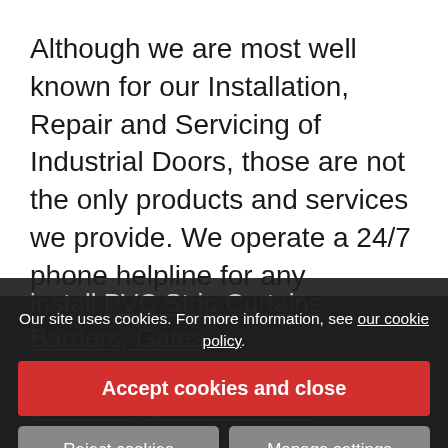Although we are most well known for our Installation, Repair and Servicing of Industrial Doors, those are not the only products and services we provide. We operate a 24/7 phone helpline for any emergency repairs and we aim to be on site within two hours of your call. We also
install PVC Strip Curtains, Barriers, Gates, Physical Security, Dock Levellers, Dock Shelters and many many more.
Our site uses cookies. For more information, see our cookie policy.
Accept cookies and close
Reject cookies
Manage settings
Got a... check our FAQ sections or contact us and we can